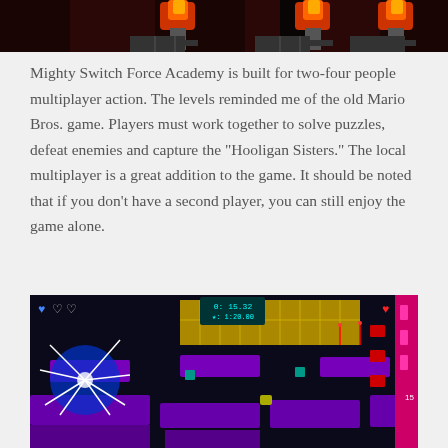[Figure (screenshot): Top portion of a game screenshot showing fire torches and a dark game level background]
Mighty Switch Force Academy is built for two-four people multiplayer action. The levels reminded me of the old Mario Bros. game. Players must work together to solve puzzles, defeat enemies and capture the "Hooligan Sisters." The local multiplayer is a great addition to the game. It should be noted that if you don't have a second player, you can still enjoy the game alone.
[Figure (screenshot): Mighty Switch Force Academy gameplay screenshot showing a purple and gold block-based level with a blue character, timer display showing 0:15.32 and star time 1:20.00, hearts in corners indicating health, and various colored platforms and enemies]